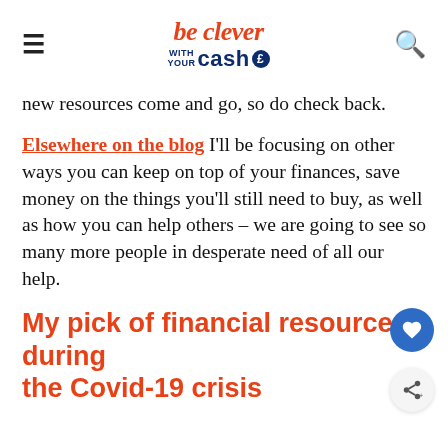be clever with your cash
new resources come and go, so do check back.
Elsewhere on the blog I'll be focusing on other ways you can keep on top of your finances, save money on the things you'll still need to buy, as well as how you can help others – we are going to see so many more people in desperate need of all our help.
My pick of financial resources during the Covid-19 crisis